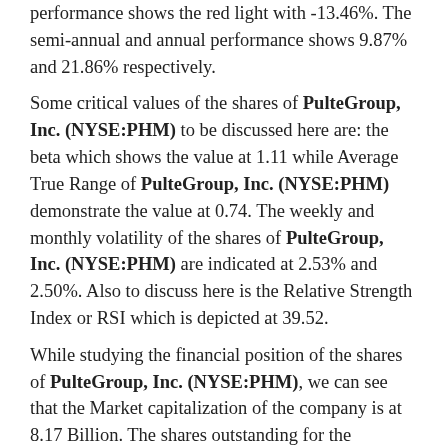performance shows the red light with -13.46%. The semi-annual and annual performance shows 9.87% and 21.86% respectively.
Some critical values of the shares of PulteGroup, Inc. (NYSE:PHM) to be discussed here are: the beta which shows the value at 1.11 while Average True Range of PulteGroup, Inc. (NYSE:PHM) demonstrate the value at 0.74. The weekly and monthly volatility of the shares of PulteGroup, Inc. (NYSE:PHM) are indicated at 2.53% and 2.50%. Also to discuss here is the Relative Strength Index or RSI which is depicted at 39.52.
While studying the financial position of the shares of PulteGroup, Inc. (NYSE:PHM), we can see that the Market capitalization of the company is at 8.17 Billion. The shares outstanding for the company is